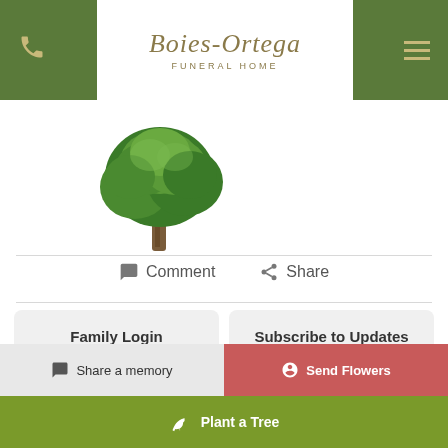Boies-Ortega Funeral Home
[Figure (illustration): Green leafy tree illustration on white background]
Comment  Share
Family Login  Subscribe to Updates
In the event that there is an error in the information presented, please contact the funeral home by clicking here.
Share a memory  Send Flowers  Plant a Tree